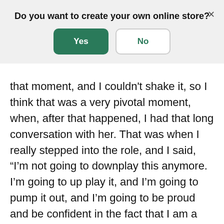Do you want to create your own online store?
Yes
No
that moment, and I couldn't shake it, so I think that was a very pivotal moment, when, after that happened, I had that long conversation with her. That was when I really stepped into the role, and I said, “I’m not going to downplay this anymore. I’m going to up play it, and I’m going to pump it out, and I’m going to be proud and be confident in the fact that I am a CEO, and that I am running this business, and that’s it. This is what I’m doing and I’m proud of it, and I’m not going to downplay it anymore.”